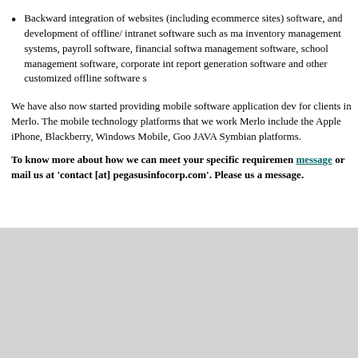Backward integration of websites (including ecommerce sites) software, and development of offline/ intranet software such as ma inventory management systems, payroll software, financial softwa management software, school management software, corporate int report generation software and other customized offline software s
We have also now started providing mobile software application dev for clients in Merlo. The mobile technology platforms that we work Merlo include the Apple iPhone, Blackberry, Windows Mobile, Goo JAVA Symbian platforms.
To know more about how we can meet your specific requiremen message or mail us at 'contact [at] pegasusinfocorp.com'. Please us a message.